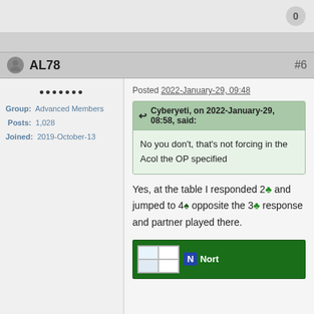0
AL78 #6
Group: Advanced Members
Posts: 1,028
Joined: 2019-October-13
Posted 2022-January-29, 09:48
Cyberyeti, on 2022-January-29, 08:58, said:
No you don't, that's not forcing in the Acol the OP specified
Yes, at the table I responded 2♣ and jumped to 4♠ opposite the 3♣ response and partner played there.
[Figure (other): Partial bridge card table diagram showing N North label]